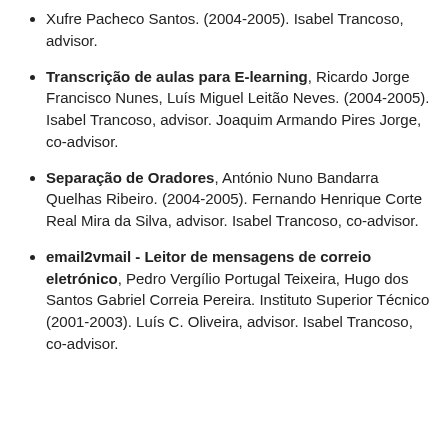Xufre Pacheco Santos. (2004-2005). Isabel Trancoso, advisor.
Transcrição de aulas para E-learning, Ricardo Jorge Francisco Nunes, Luís Miguel Leitão Neves. (2004-2005). Isabel Trancoso, advisor. Joaquim Armando Pires Jorge, co-advisor.
Separação de Oradores, António Nuno Bandarra Quelhas Ribeiro. (2004-2005). Fernando Henrique Corte Real Mira da Silva, advisor. Isabel Trancoso, co-advisor.
email2vmail - Leitor de mensagens de correio eletrónico, Pedro Vergílio Portugal Teixeira, Hugo dos Santos Gabriel Correia Pereira. Instituto Superior Técnico (2001-2003). Luís C. Oliveira, advisor. Isabel Trancoso, co-advisor.